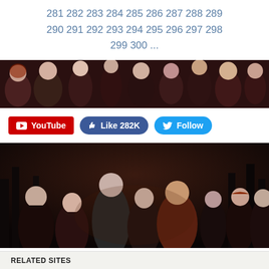281 282 283 284 285 286 287 288 289 290 291 292 293 294 295 296 297 298 299 300 ...
[Figure (photo): Banner image with multiple characters in dark tones at the top]
YouTube  Like 282K  Follow
[Figure (photo): Twilight movie promotional image with characters in dark forest setting]
[Figure (photo): Twilight movie cast promotional poster]
RELATED SITES